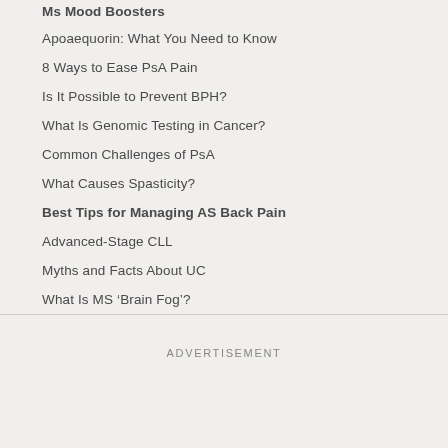Ms Mood Boosters
Apoaequorin: What You Need to Know
8 Ways to Ease PsA Pain
Is It Possible to Prevent BPH?
What Is Genomic Testing in Cancer?
Common Challenges of PsA
What Causes Spasticity?
Best Tips for Managing AS Back Pain
Advanced-Stage CLL
Myths and Facts About UC
What Is MS ‘Brain Fog’?
ADVERTISEMENT